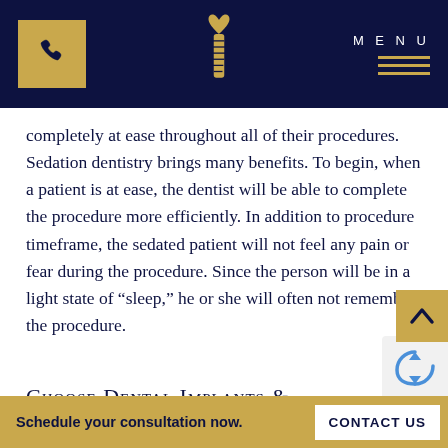[Figure (logo): Dental practice website navigation bar with phone button (gold square with phone icon), dental implant logo (gold tooth/implant icon with heart), MENU text and gold horizontal lines on dark navy background]
completely at ease throughout all of their procedures. Sedation dentistry brings many benefits. To begin, when a patient is at ease, the dentist will be able to complete the procedure more efficiently. In addition to procedure timeframe, the sedated patient will not feel any pain or fear during the procedure. Since the person will be in a light state of “sleep,” he or she will often not remember the procedure.
Choose Dental Implants &
Schedule your consultation now.  CONTACT US